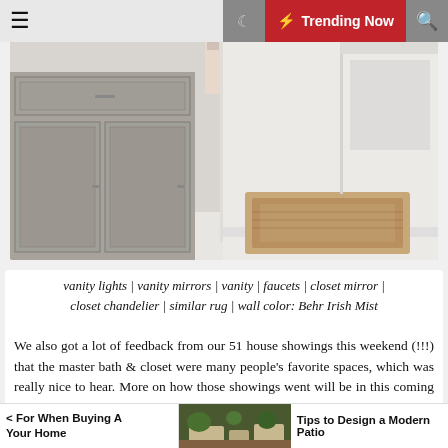☰  🌙  ⚡ Trending Now  🔍
[Figure (photo): Photo of a bathroom vanity with gray cabinets and drawers on the left, and a closet area with a patterned rug on the right. A pink/white towel hangs from the cabinet.]
vanity lights | vanity mirrors | vanity | faucets | closet mirror | closet chandelier | similar rug | wall color: Behr Irish Mist
We also got a lot of feedback from our 51 house showings this weekend (!!!) that the master bath & closet were many people's favorite spaces, which was really nice to hear. More on how those showings went will be in this coming Monday's podcast – we have a lot to tell you!
< For When Buying A Your Home  [image: patio]  Tips to Design a Modern Patio